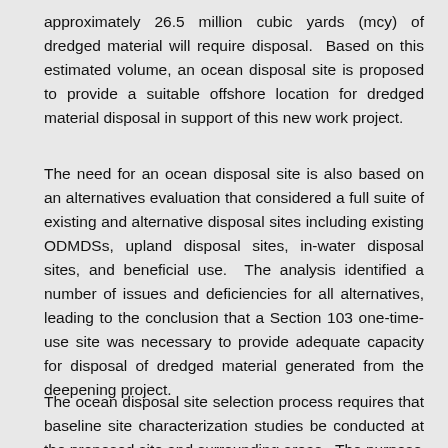approximately 26.5 million cubic yards (mcy) of dredged material will require disposal. Based on this estimated volume, an ocean disposal site is proposed to provide a suitable offshore location for dredged material disposal in support of this new work project.
The need for an ocean disposal site is also based on an alternatives evaluation that considered a full suite of existing and alternative disposal sites including existing ODMDSs, upland disposal sites, in-water disposal sites, and beneficial use. The analysis identified a number of issues and deficiencies for all alternatives, leading to the conclusion that a Section 103 one-time-use site was necessary to provide adequate capacity for disposal of dredged material generated from the deepening project.
The ocean disposal site selection process requires that baseline site characterization studies be conducted at the proposed site and surrounding areas. The purpose